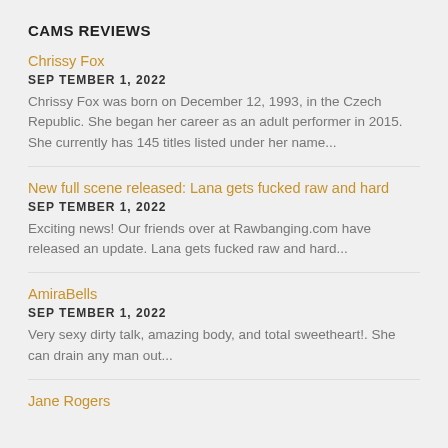CAMS REVIEWS
Chrissy Fox
SEPTEMBER 1, 2022
Chrissy Fox was born on December 12, 1993, in the Czech Republic. She began her career as an adult performer in 2015. She currently has 145 titles listed under her name...
New full scene released: Lana gets fucked raw and hard
SEPTEMBER 1, 2022
Exciting news! Our friends over at Rawbanging.com have released an update. Lana gets fucked raw and hard...
AmiraBells
SEPTEMBER 1, 2022
Very sexy dirty talk, amazing body, and total sweetheart!. She can drain any man out...
Jane Rogers